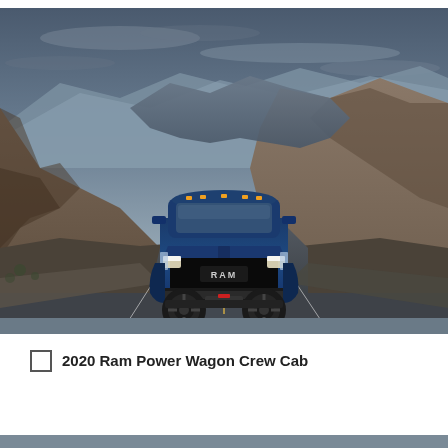[Figure (photo): A blue 2020 Ram Power Wagon Crew Cab pickup truck driving head-on on a desert mountain road, with dramatic rocky cliffs and overcast sky in the background.]
2020 Ram Power Wagon Crew Cab